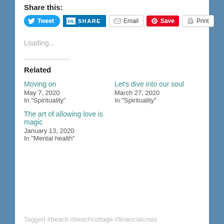Share this:
Tweet | SHARE | Email | Save | Print
Loading...
Related
Moving on
May 7, 2020
In "Spirituality"
Let's dive into our soul
March 27, 2020
In "Spirituality"
The art of allowing love is magic
January 13, 2020
In "Mental health"
Tagged #beach #beachcottage #financialcrisis